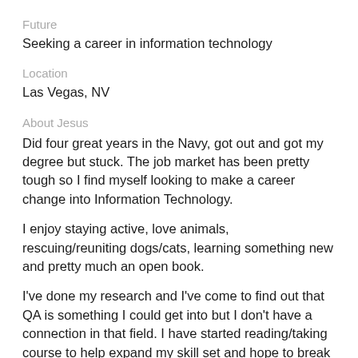Future
Seeking a career in information technology
Location
Las Vegas, NV
About Jesus
Did four great years in the Navy, got out and got my degree but stuck. The job market has been pretty tough so I find myself looking to make a career change into Information Technology.
I enjoy staying active, love animals, rescuing/reuniting dogs/cats, learning something new and pretty much an open book.
I've done my research and I've come to find out that QA is something I could get into but I don't have a connection in that field. I have started reading/taking course to help expand my skill set and hope to break into IT/Coding/Cybersecurity.